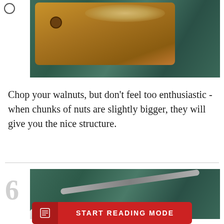[Figure (photo): A wooden cutting board with chopped walnuts on a green marble countertop]
Chop your walnuts, but don't feel too enthusiastic - when chunks of nuts are slightly bigger, they will give you the nice structure.
[Figure (photo): Eggs on a plate with a spatula on a green marble countertop, step 6]